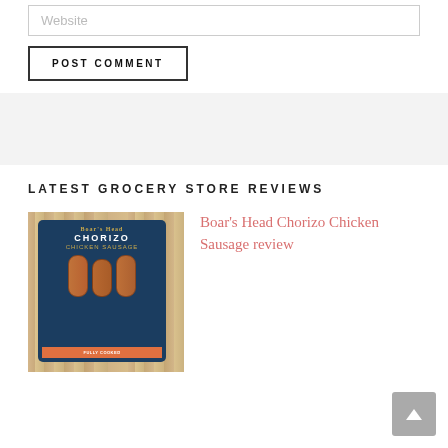Website
POST COMMENT
LATEST GROCERY STORE REVIEWS
[Figure (photo): Package of Boar's Head Chorizo Chicken Sausage on a wooden cutting board background]
Boar's Head Chorizo Chicken Sausage review